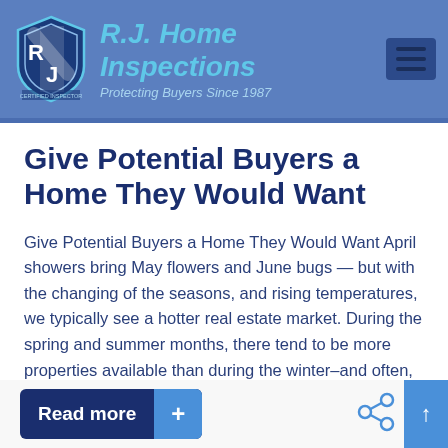R.J. Home Inspections — Protecting Buyers Since 1987
Give Potential Buyers a Home They Would Want
Give Potential Buyers a Home They Would Want April showers bring May flowers and June bugs — but with the changing of the seasons, and rising temperatures, we typically see a hotter real estate market. During the spring and summer months, there tend to be more properties available than during the winter–and often, they'll sell [...]